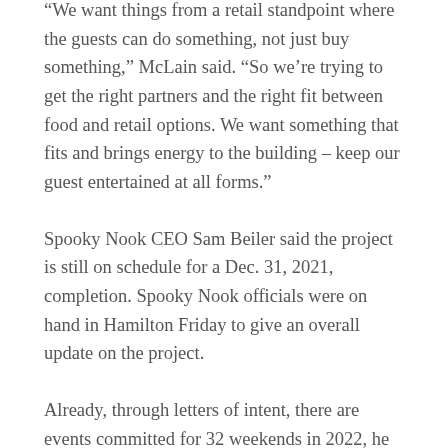“We want things from a retail standpoint where the guests can do something, not just buy something,” McLain said. “So we’re trying to get the right partners and the right fit between food and retail options. We want something that fits and brings energy to the building – keep our guest entertained at all forms.”
Spooky Nook CEO Sam Beiler said the project is still on schedule for a Dec. 31, 2021, completion. Spooky Nook officials were on hand in Hamilton Friday to give an overall update on the project.
Already, through letters of intent, there are events committed for 32 weekends in 2022, he said. Spooky Nook will include a fitness center, climbing/adventure center, hardwood, turf and sport courts for volleyball, field hockey, basketball and more at Mill One. Mill Two will